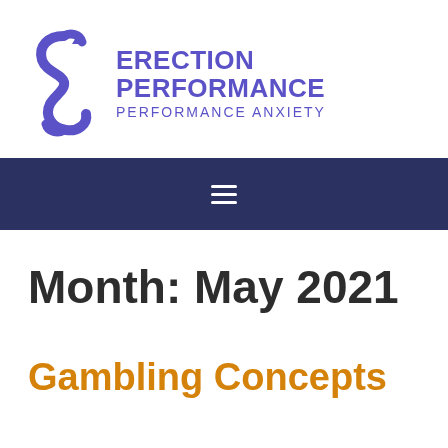[Figure (logo): Erection Performance Performance Anxiety logo with stylized S-shape figure in purple and brand name text]
≡
Month: May 2021
Gambling Concepts